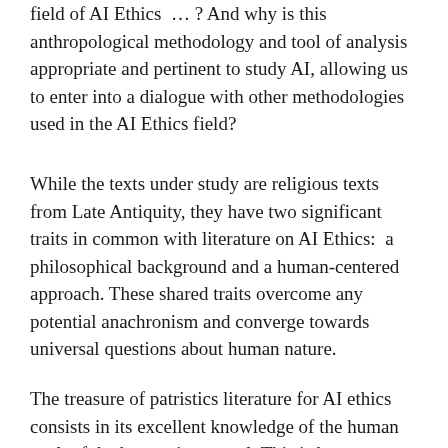field of AI Ethics ... ? And why is this anthropological methodology and tool of analysis appropriate and pertinent to study AI, allowing us to enter into a dialogue with other methodologies used in the AI Ethics field?
While the texts under study are religious texts from Late Antiquity, they have two significant traits in common with literature on AI Ethics:  a philosophical background and a human-centered approach. These shared traits overcome any potential anachronism and converge towards universal questions about human nature.
The treasure of patristics literature for AI ethics consists in its excellent knowledge of the human soul, of the human in general. This is because